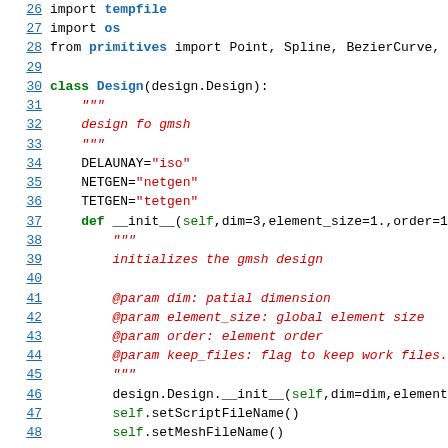26  import tempfile
27  import os
28  from primitives import Point, Spline, BezierCurve,
29
30  class Design(design.Design):
31      """
32      design fo gmsh
33      """
34      DELAUNAY="iso"
35      NETGEN="netgen"
36      TETGEN="tetgen"
37      def __init__(self,dim=3,element_size=1.,order=1
38          """
39          initializes the gmsh design
40
41          @param dim: patial dimension
42          @param element_size: global element size
43          @param order: element order
44          @param keep_files: flag to keep work files.
45          """
46          design.Design.__init__(self,dim=dim,element_
47          self.setScriptFileName()
48          self.setMeshFileName()